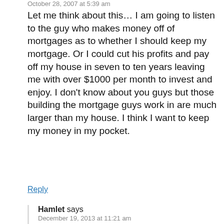October 28, 2007 at 5:39 am
Let me think about this… I am going to listen to the guy who makes money off of mortgages as to whether I should keep my mortgage. Or I could cut his profits and pay off my house in seven to ten years leaving me with over $1000 per month to invest and enjoy. I don't know about you guys but those building the mortgage guys work in are much larger than my house. I think I want to keep my money in my pocket.
Reply
Hamlet says
December 19, 2013 at 11:21 am
hahah, The Saviing Freak is 100% right. So i'm going to keep my mortgage so that I can save on taxes? Do the math: spend $1,000 to